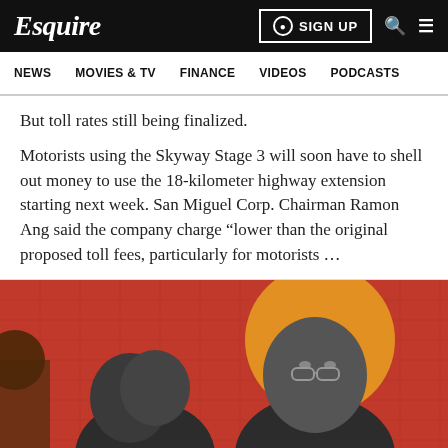Esquire | SIGN UP
NEWS  MOVIES & TV  FINANCE  VIDEOS  PODCASTS
But toll rates still being finalized.
Motorists using the Skyway Stage 3 will soon have to shell out money to use the 18-kilometer highway extension starting next week. San Miguel Corp. Chairman Ramon Ang said the company charge “lower than the original proposed toll fees, particularly for motorists …
[Figure (photo): Red background editorial photo showing two men in black and white — one in the foreground slightly bowed, one behind facing forward wearing glasses, with a golden circular element behind them]